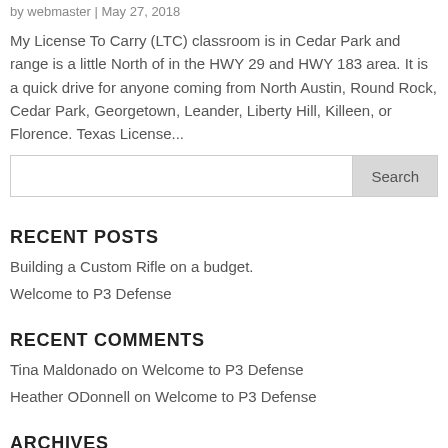by webmaster | May 27, 2018
My License To Carry (LTC) classroom is in Cedar Park and range is a little North of in the HWY 29 and HWY 183 area. It is a quick drive for anyone coming from North Austin, Round Rock, Cedar Park, Georgetown, Leander, Liberty Hill, Killeen, or Florence. Texas License...
RECENT POSTS
Building a Custom Rifle on a budget.
Welcome to P3 Defense
RECENT COMMENTS
Tina Maldonado on Welcome to P3 Defense
Heather ODonnell on Welcome to P3 Defense
ARCHIVES